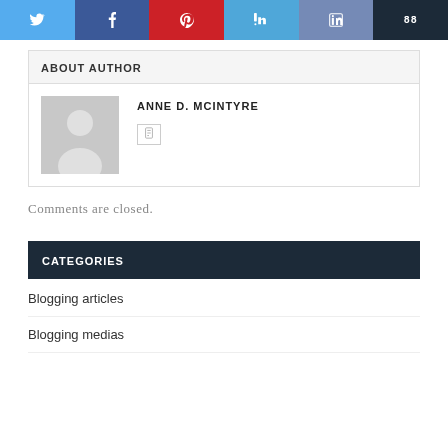[Figure (other): Social media sharing buttons bar: Twitter, Facebook, Pinterest, LinkedIn, another social, and a count badge (88)]
ABOUT AUTHOR
[Figure (photo): Default grey avatar placeholder with white silhouette of a person]
ANNE D. MCINTYRE
Comments are closed.
CATEGORIES
Blogging articles
Blogging medias